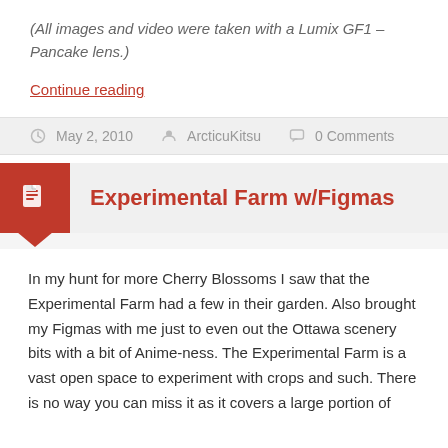(All images and video were taken with a Lumix GF1 – Pancake lens.)
Continue reading
May 2, 2010   ArcticuKitsu   0 Comments
Experimental Farm w/Figmas
In my hunt for more Cherry Blossoms I saw that the Experimental Farm had a few in their garden. Also brought my Figmas with me just to even out the Ottawa scenery bits with a bit of Anime-ness. The Experimental Farm is a vast open space to experiment with crops and such. There is no way you can miss it as it covers a large portion of